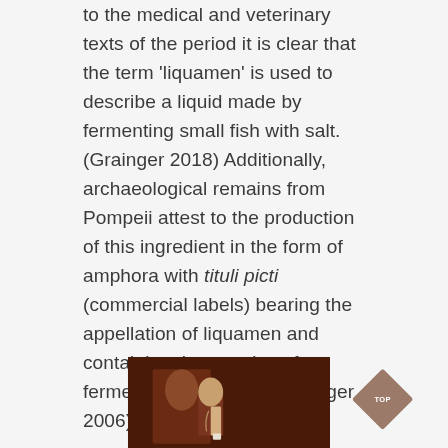to the medical and veterinary texts of the period it is clear that the term 'liquamen' is used to describe a liquid made by fermenting small fish with salt. (Grainger 2018) Additionally, archaeological remains from Pompeii attest to the production of this ingredient in the form of amphora with tituli picti (commercial labels) bearing the appellation of liquamen and containing the remains of a fermented fish sauce. (Grainger 2006)
[Figure (photo): A photograph showing hands holding or pouring from an amphora vessel, with a painted or mosaic background depicting a robed figure.]